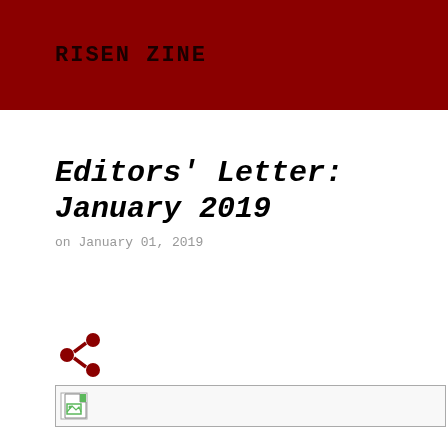RISEN ZINE
Editors' Letter: January 2019
on January 01, 2019
[Figure (other): Share icon (dark red)]
[Figure (other): Broken/missing image placeholder]